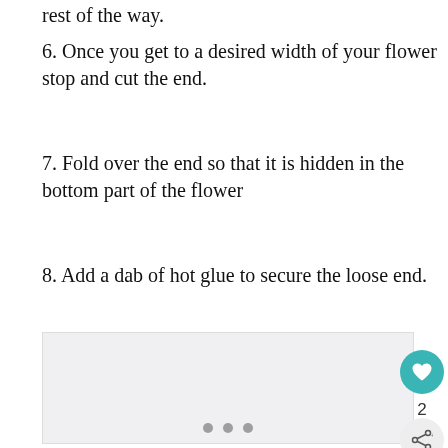rest of the way.
6. Once you get to a desired width of your flower stop and cut the end.
7. Fold over the end so that it is hidden in the bottom part of the flower
8. Add a dab of hot glue to secure the loose end.
[Figure (other): Slideshow image area with three navigation dots]
[Figure (other): Advertisement banner: 'Thank you!' with Operation Gratitude branding and photo of people in masks]